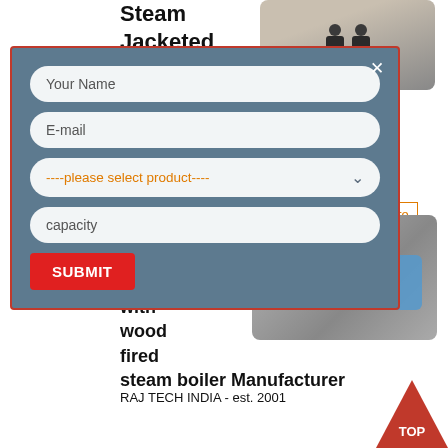Steam Jacketed Kettles Manufacturer and
[Figure (photo): Two people walking in an industrial facility]
Welcome to our Website. M/S Raj. Tech.
s a reputed
er of Steam Boilers
sweet
[Figure (other): View More button with orange border]
[Figure (photo): Industrial boiler equipment photo with yellow and blue components]
with
wood
fired
steam boiler Manufacturer
RAJ TECH INDIA - est. 2001
[Figure (other): Modal popup form with fields: Your Name, E-mail, please select product, capacity, and SUBMIT button]
[Figure (other): Red TOP triangle navigation button]